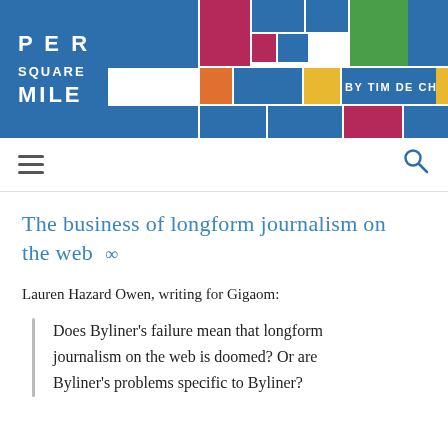[Figure (logo): Per Square Mile blog header with colorful mosaic tiles and 'BY TIM DE CHANT' text]
≡   🔍
The business of longform journalism on the web ∞
Lauren Hazard Owen, writing for Gigaom:
Does Byliner's failure mean that longform journalism on the web is doomed? Or are Byliner's problems specific to Byliner?